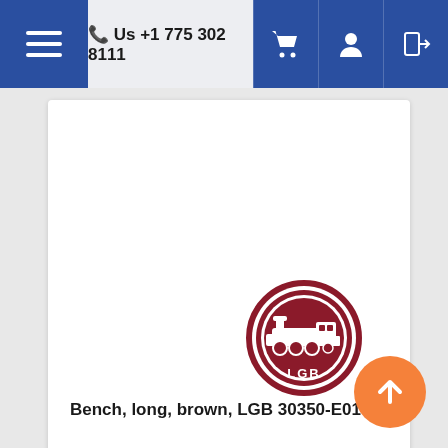Us +1 775 302 8111
[Figure (logo): LGB train brand logo — circular red badge with a steam locomotive illustration and 'LGB' text in the center]
Bench, long, brown, LGB 30350-E019
$14.50
[Figure (photo): Partial product image visible at the bottom — appears to be a green model train accessory item]